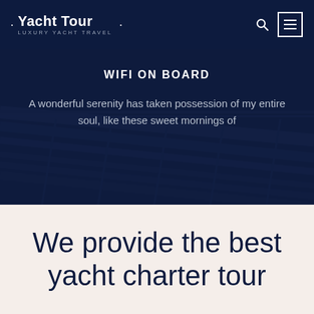Yacht Tour · LUXURY YACHT TRAVEL
WIFI ON BOARD
A wonderful serenity has taken possession of my entire soul, like these sweet mornings of
We provide the best yacht charter tour